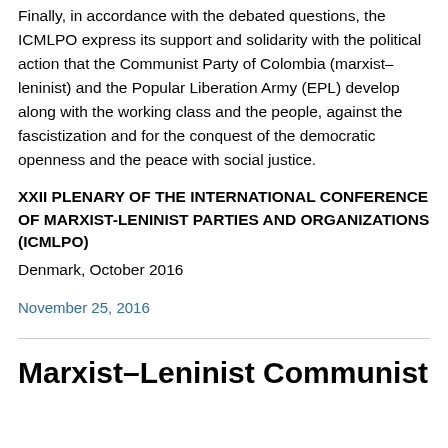Finally, in accordance with the debated questions, the ICMLPO express its support and solidarity with the political action that the Communist Party of Colombia (marxist–leninist) and the Popular Liberation Army (EPL) develop along with the working class and the people, against the fascistization and for the conquest of the democratic openness and the peace with social justice.
XXII PLENARY OF THE INTERNATIONAL CONFERENCE OF MARXIST-LENINIST PARTIES AND ORGANIZATIONS (ICMLPO)
Denmark, October 2016
November 25, 2016
Marxist–Leninist Communist